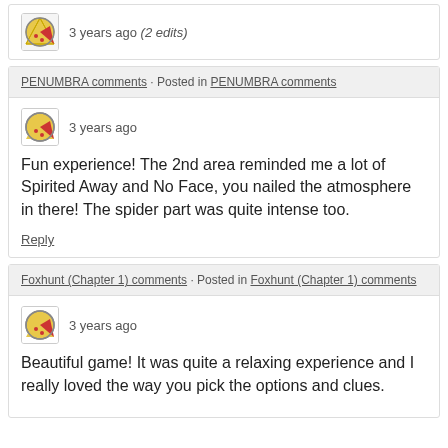3 years ago (2 edits)
PENUMBRA comments · Posted in PENUMBRA comments
3 years ago
Fun experience! The 2nd area reminded me a lot of Spirited Away and No Face, you nailed the atmosphere in there! The spider part was quite intense too.
Reply
Foxhunt (Chapter 1) comments · Posted in Foxhunt (Chapter 1) comments
3 years ago
Beautiful game! It was quite a relaxing experience and I really loved the way you pick the options and clues.